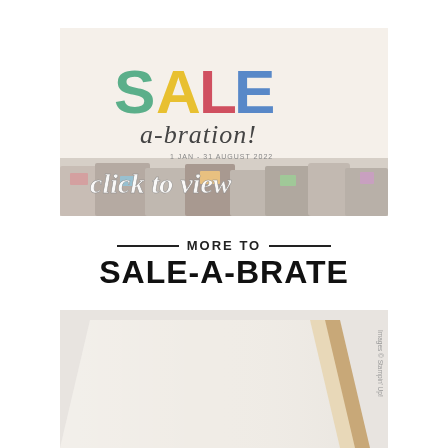[Figure (illustration): Sale-a-bration promotional banner with colorful 'SALE a-bration!' text and 'click to view' cursive overlay on a collage of craft products]
MORE TO SALE-A-BRATE
[Figure (photo): Three overlapping square card stock sheets in white, cream/ivory, and tan/kraft colors, fanned out diagonally]